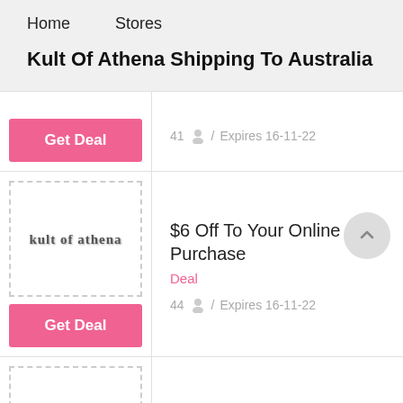Home   Stores
Kult Of Athena Shipping To Australia
Get Deal | 41 / Expires 16-11-22
[Figure (logo): kult of athena logo text]
$6 Off To Your Online Purchase | Deal | 44 / Expires 16-11-22
Get Deal
Sho... (partial, cut off)